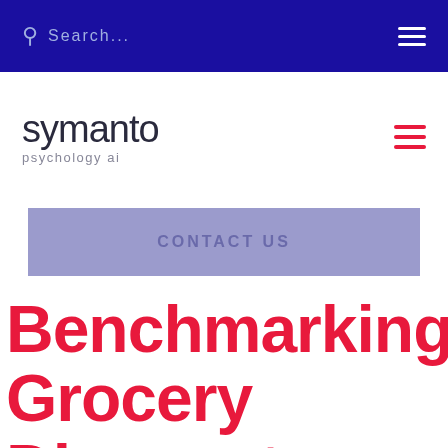Search...
[Figure (logo): Symanto psychology ai logo with hamburger menu icon]
CONTACT US
Benchmarking Grocery Discounters